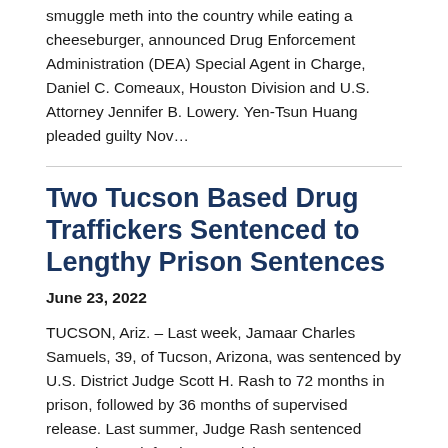smuggle meth into the country while eating a cheeseburger, announced Drug Enforcement Administration (DEA) Special Agent in Charge, Daniel C. Comeaux, Houston Division and U.S. Attorney Jennifer B. Lowery. Yen-Tsun Huang pleaded guilty Nov...
Two Tucson Based Drug Traffickers Sentenced to Lengthy Prison Sentences
June 23, 2022
TUCSON, Ariz. – Last week, Jamaar Charles Samuels, 39, of Tucson, Arizona, was sentenced by U.S. District Judge Scott H. Rash to 72 months in prison, followed by 36 months of supervised release. Last summer, Judge Rash sentenced Samuels' co-defendant, Patrick